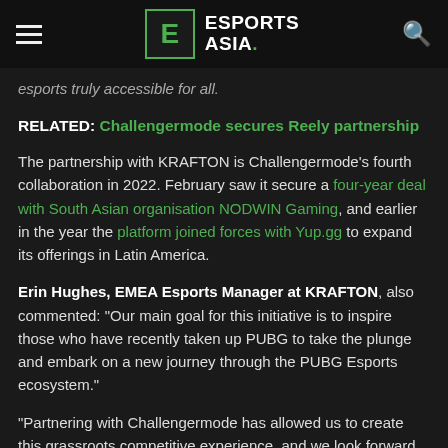ESPORTS ASIA.
esports truly accessible for all.
RELATED: Challengermode secures Reely partnership
The partnership with KRAFTON is Challengermode's fourth collaboration in 2022. February saw it secure a four-year deal with South Asian organisation NODWIN Gaming, and earlier in the year the platform joined forces with Yup.gg to expand its offerings in Latin America.
Erin Hughes, EMEA Esports Manager at KRAFTON, also commented: "Our main goal for this initiative is to inspire those who have recently taken up PUBG to take the plunge and embark on a new journey through the PUBG Esports ecosystem."
"Partnering with Challengermode has allowed us to create this grassroots competitive experience, and we look forward to working closely together over the coming